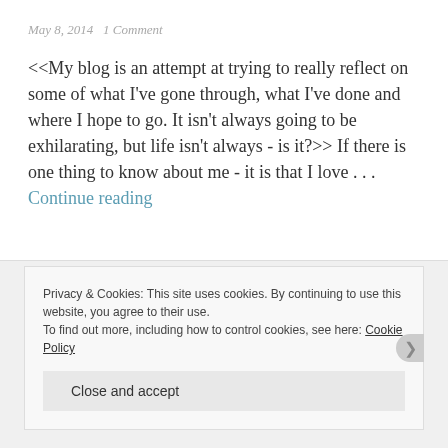May 8, 2014   1 Comment
<<My blog is an attempt at trying to really reflect on some of what I've gone through, what I've done and where I hope to go. It isn't always going to be exhilarating, but life isn't always - is it?>> If there is one thing to know about me - it is that I love . . . Continue reading
Privacy & Cookies: This site uses cookies. By continuing to use this website, you agree to their use.
To find out more, including how to control cookies, see here: Cookie Policy
Close and accept